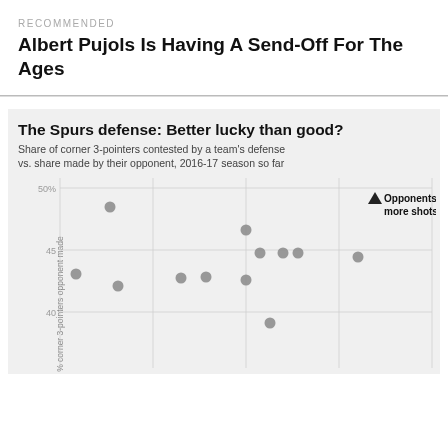RECOMMENDED
Albert Pujols Is Having A Send-Off For The Ages
[Figure (continuous-plot): Scatter plot showing share of corner 3-pointers contested by a team's defense vs. share made by their opponent, 2016-17 season so far. Y-axis labeled '% corner 3-pointers opponent made' with visible range ~38-51%. X-axis range not fully visible. Multiple gray dot data points scattered across the chart. One black triangle marker in upper right indicating 'Opponents make more shots'.]